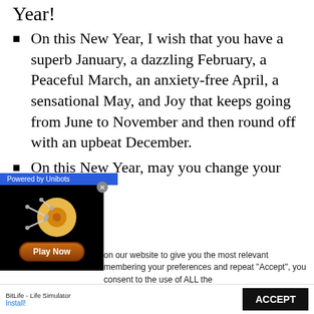Year!
On this New Year, I wish that you have a superb January, a dazzling February, a Peaceful March, an anxiety-free April, a sensational May, and Joy that keeps going from June to November and then round off with an upbeat December.
On this New Year, may you change your
[Figure (screenshot): Advertisement overlay: 'Powered by Unibots' bar, a game ad showing a circular target/drum image with a 'Play Now' button, and a close button. App name 'BitLife - Life Simulator' with Install! button at bottom.]
on our website to give you the most relevant membering your preferences and repeat "Accept", you consent to the use of ALL the
ersonal information.
ACCEPT